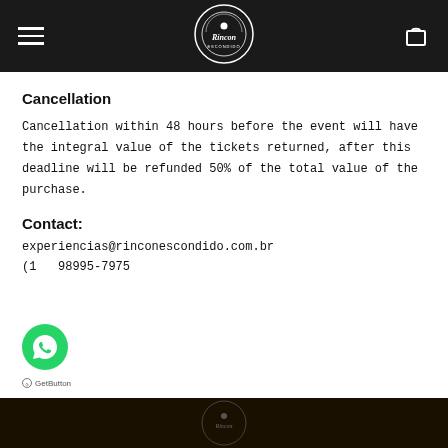Rincon Escondido — navigation header with hamburger menu, logo, and cart icon
Cancellation
Cancellation within 48 hours before the event will have the integral value of the tickets returned, after this deadline will be refunded 50% of the total value of the purchase.
Contact:
experiencias@rinconescondido.com.br
(1  98995-7975
[Figure (logo): WhatsApp floating button (green circle with WhatsApp icon)]
GetButton
[Figure (photo): Dark bottom image strip showing partial Rincon Escondido logo]